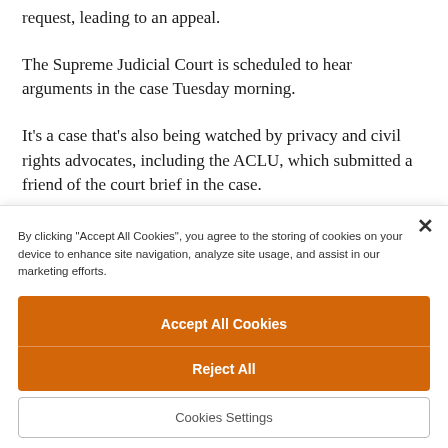request, leading to an appeal.
The Supreme Judicial Court is scheduled to hear arguments in the case Tuesday morning.
It's a case that's also being watched by privacy and civil rights advocates, including the ACLU, which submitted a friend of the court brief in the case.
By clicking "Accept All Cookies", you agree to the storing of cookies on your device to enhance site navigation, analyze site usage, and assist in our marketing efforts.
Accept All Cookies
Reject All
Cookies Settings